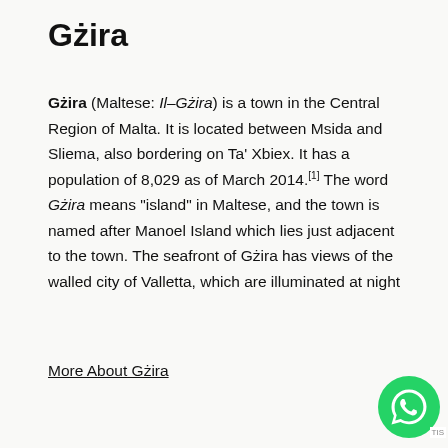Gżira
Gżira (Maltese: Il–Gżira) is a town in the Central Region of Malta. It is located between Msida and Sliema, also bordering on Ta' Xbiex. It has a population of 8,029 as of March 2014.[1] The word Gżira means "island" in Maltese, and the town is named after Manoel Island which lies just adjacent to the town. The seafront of Gżira has views of the walled city of Valletta, which are illuminated at night
More About Gżira